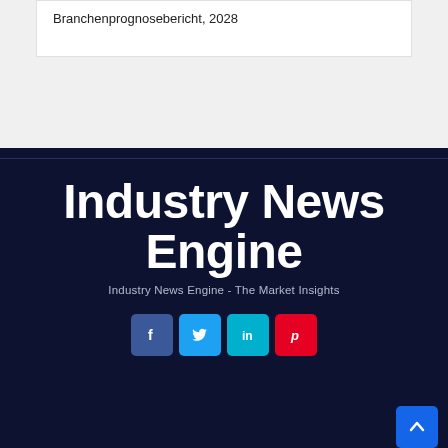Branchenprognosebericht, 2028
Industry News Engine
Industry News Engine - The Market Insights
[Figure (infographic): Social media icon buttons: Facebook (blue), Twitter (light blue), LinkedIn (teal), Pinterest (red)]
[Figure (other): Scroll to top button with upward caret arrow, blue background, bottom right corner]